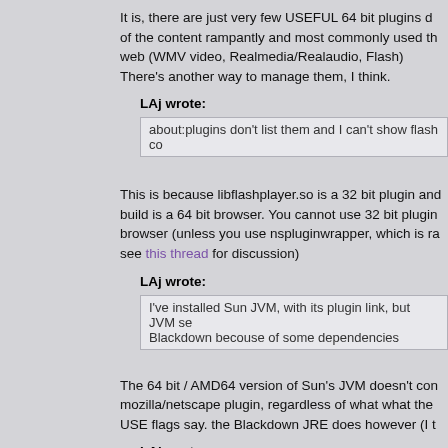It is, there are just very few USEFUL 64 bit plugins of the content rampantly and most commonly used through the web (WMV video, Realmedia/Realaudio, Flash) There's another way to manage them, I think.
LAj wrote:
about:plugins don't list them and I can't show flash co
This is because libflashplayer.so is a 32 bit plugin and build is a 64 bit browser. You cannot use 32 bit plugins in a 64 bit browser (unless you use nspluginwrapper, which is ra see this thread for discussion)
LAj wrote:
I've installed Sun JVM, with its plugin link, but JVM se Blackdown becouse of some dependencies
The 64 bit / AMD64 version of Sun's JVM doesn't come with a mozilla/netscape plugin, regardless of what what the USE flags say. the Blackdown JRE does however (I t
LAj wrote: